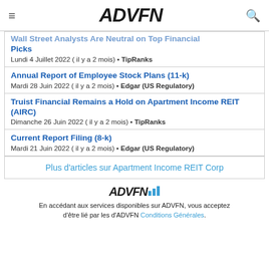ADVFN
Wall Street Analysts Are Neutral on Top Financial Picks
Lundi 4 Juillet 2022 ( il y a 2 mois) • TipRanks
Annual Report of Employee Stock Plans (11-k)
Mardi 28 Juin 2022 ( il y a 2 mois) • Edgar (US Regulatory)
Truist Financial Remains a Hold on Apartment Income REIT (AIRC)
Dimanche 26 Juin 2022 ( il y a 2 mois) • TipRanks
Current Report Filing (8-k)
Mardi 21 Juin 2022 ( il y a 2 mois) • Edgar (US Regulatory)
Plus d'articles sur Apartment Income REIT Corp
En accédant aux services disponibles sur ADVFN, vous acceptez d'être lié par les d'ADVFN Conditions Générales.